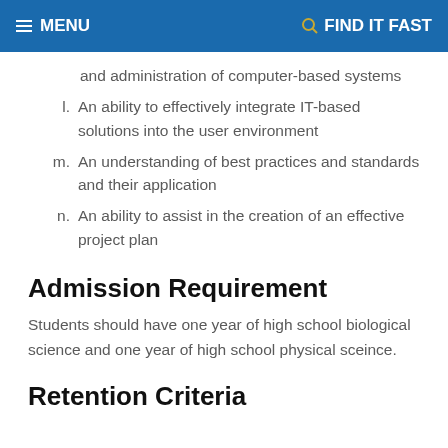MENU   FIND IT FAST
and administration of computer-based systems
l. An ability to effectively integrate IT-based solutions into the user environment
m. An understanding of best practices and standards and their application
n. An ability to assist in the creation of an effective project plan
Admission Requirement
Students should have one year of high school biological science and one year of high school physical sceince.
Retention Criteria